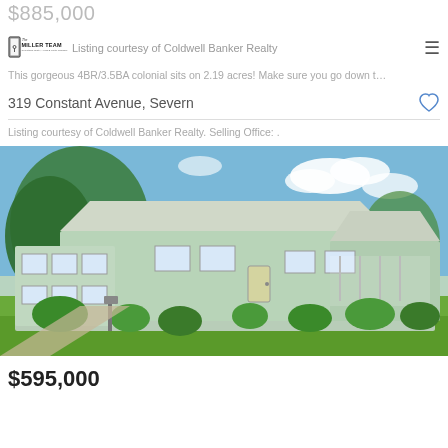$885,000
[Figure (logo): The Miller Team logo - Of Northrup Realty, A Long & Foster Company]
Listing courtesy of Coldwell Banker Realty
This gorgeous 4BR/3.5BA colonial sits on 2.19 acres! Make sure you go down t…
319 Constant Avenue, Severn
Listing courtesy of Coldwell Banker Realty. Selling Office: .
[Figure (photo): Exterior photo of a light blue/green colonial-style house with landscaped front yard, large trees, and blue sky with clouds.]
$595,000